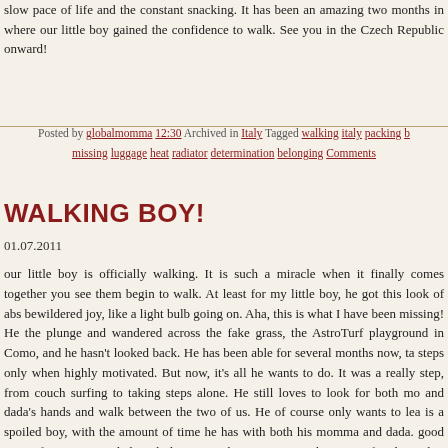slow pace of life and the constant snacking. It has been an amazing two months in where our little boy gained the confidence to walk. See you in the Czech Republic onward!
Posted by globalmomma 12:30 Archived in Italy Tagged walking italy packing b... missing luggage heat radiator determination belonging Comments
WALKING BOY!
01.07.2011
our little boy is officially walking. It is such a miracle when it finally comes together you see them begin to walk. At least for my little boy, he got this look of abs bewildered joy, like a light bulb going on. Aha, this is what I have been missing! He the plunge and wandered across the fake grass, the AstroTurf playground in Como, and he hasn't looked back. He has been able for several months now, ta steps only when highly motivated. But now, it's all he wants to do. It was a really step, from couch surfing to taking steps alone. He still loves to look for both mo and dada's hands and walk between the two of us. He of course only wants to lea is a spoiled boy, with the amount of time he has with both his momma and dada. good way of course, spoiled with love! We hope time together as a family is bui something in him, something strong and secure. Something new toys and money fancy clothes don't get...since he really has none of those things right now, only a books and small toys that fit in a bag, and the toys we find in the apartments and h we visit. Light switches, pans, remote controls, water bottles, zippers, drains dishwashers are some of his favorite things. But when he starts walking, then